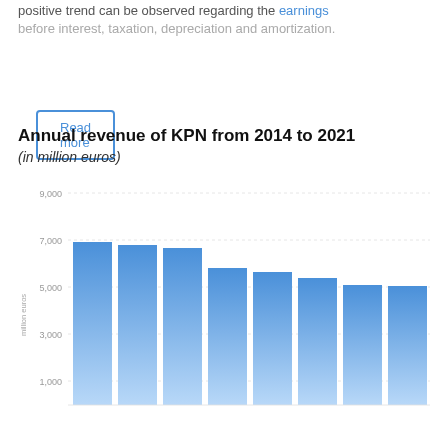positive trend can be observed regarding the earnings before interest, taxation, depreciation and amortization.
Read more
Annual revenue of KPN from 2014 to 2021
(in million euros)
[Figure (bar-chart): Annual revenue of KPN from 2014 to 2021 (in million euros)]